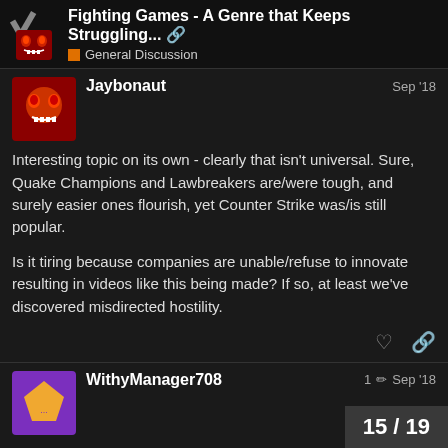Fighting Games - A Genre that Keeps Struggling... General Discussion
Jaybonaut   Sep '18
Interesting topic on its own - clearly that isn't universal. Sure, Quake Champions and Lawbreakers are/were tough, and surely easier ones flourish, yet Counter Strike was/is still popular.

Is it tiring because companies are unable/refuse to innovate resulting in videos like this being made? If so, at least we've discovered misdirected hostility.
WithyManager708   1   Sep '18
It's tiring because casuals shouldn't have to be catered to in the first place to make sales. Casuals should a... before you win in games you should have...
15 / 19